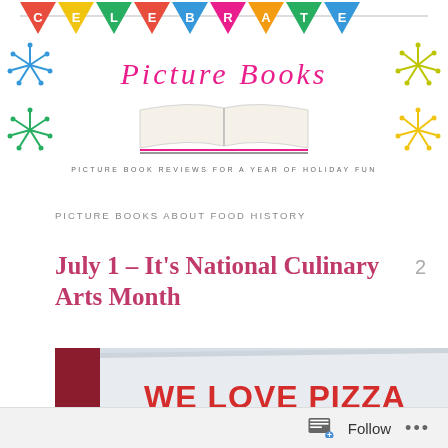[Figure (illustration): Celebrate Picture Books blog banner with colorful bunting flags spelling CELEBRATE, script title 'Picture Books' in pink, an open book illustration, firework decorations, and subtitle 'PICTURE BOOK REVIEWS FOR A YEAR OF HOLIDAY FUN']
PICTURE BOOKS ABOUT FOOD HISTORY
July 1 – It's National Culinary Arts Month
[Figure (photo): Book cover showing 'WE LOVE PIZZA' in bold red text on a white/light blue background, viewed at an angle]
Follow